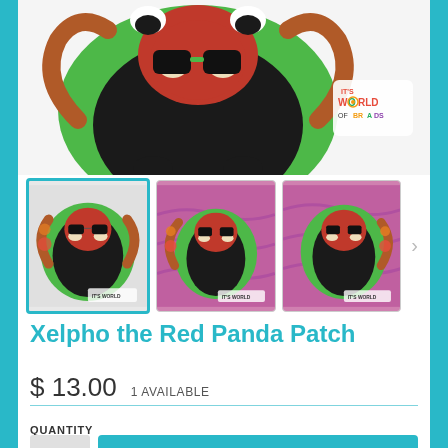[Figure (photo): Close-up top view of Xelpho the Red Panda patch with green border, showing the top portion of the patch with sunglasses detail, and a World of Brads logo badge in top right corner]
[Figure (photo): Three thumbnail images of Xelpho the Red Panda Patch: first on white background (selected with teal border), second and third on pink/mauve background showing different angles of the red panda patch]
Xelpho the Red Panda Patch
$ 13.00  1 AVAILABLE
QUANTITY